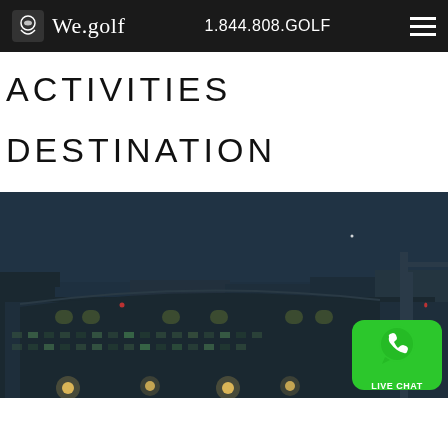We.golf  1.844.808.GOLF
ACTIVITIES
DESTINATION
[Figure (photo): Nighttime cityscape photo showing illuminated multi-story buildings with a dark blue sky. A green WhatsApp-style Live Chat button appears in the bottom right corner.]